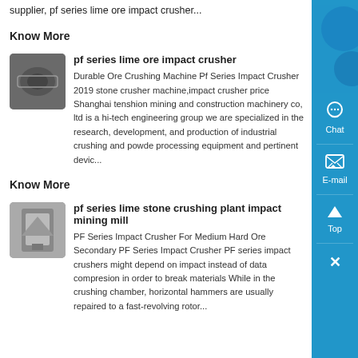supplier, pf series lime ore impact crusher...
Know More
pf series lime ore impact crusher
Durable Ore Crushing Machine Pf Series Impact Crusher 2019 stone crusher machine,impact crusher price Shanghai tenshion mining and construction machinery co, ltd is a hi-tech engineering group we are specialized in the research, development, and production of industrial crushing and powder processing equipment and pertinent devic...
Know More
pf series lime stone crushing plant impact mining mill
PF Series Impact Crusher For Medium Hard Ore Secondary PF Series Impact Crusher PF series impact crushers might depend on impact instead of data compresion in order to break materials While in the crushing chamber, horizontal hammers are usually repaired to a fast-revolving rotor...